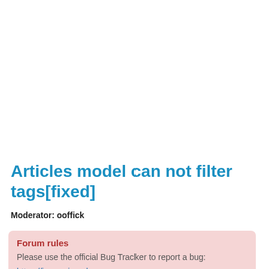Articles model can not filter tags[fixed]
Moderator: ooffick
Forum rules
Please use the official Bug Tracker to report a bug: https://issues.joomla.org